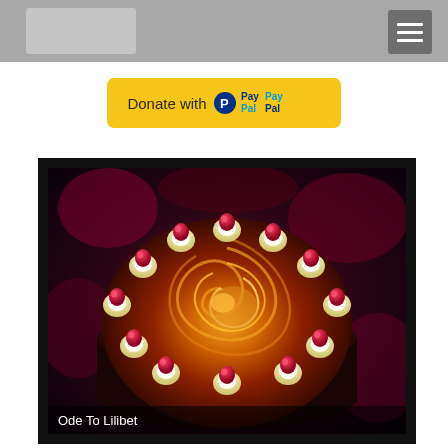[Figure (screenshot): PayPal Donate button — yellow rounded rectangle with 'Donate with' text and PayPal logo]
[Figure (photo): Overhead photo of a decorated cake with whipped cream rosettes topped with raspberries arranged in a ring around a caramel/chocolate swirl top. Caption reads 'Ode To Lilibet']